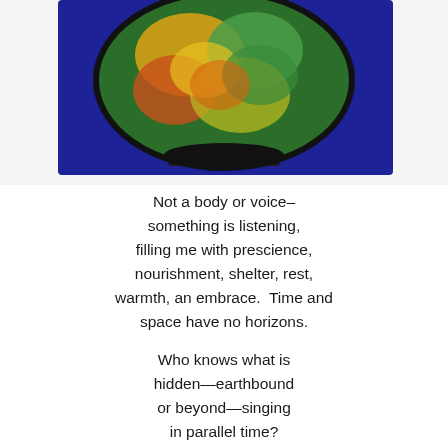[Figure (photo): Photograph of a colorful oval/bowl-shaped artwork with yellow, green, orange, and red colors, placed on a dark blue background mat, with a white border visible beneath.]
Not a body or voice–
something is listening,
filling me with prescience,
nourishment, shelter, rest,
warmth, an embrace.  Time and
space have no horizons.

Who knows what is
hidden—earthbound
or beyond—singing
in parallel time?
And where am I?
I can't comprehend,
can't contain this feeling–
it is always spilling
out and then refilling